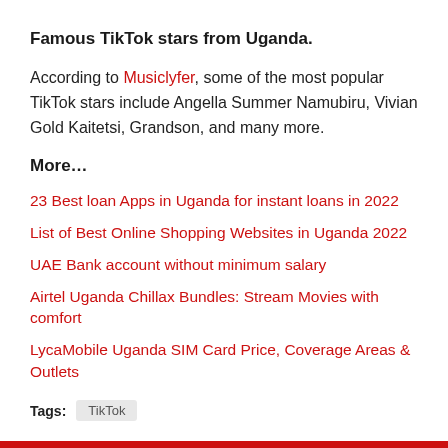Famous TikTok stars from Uganda.
According to Musiclyfer, some of the most popular TikTok stars include Angella Summer Namubiru, Vivian Gold Kaitetsi, Grandson, and many more.
More…
23 Best loan Apps in Uganda for instant loans in 2022
List of Best Online Shopping Websites in Uganda 2022
UAE Bank account without minimum salary
Airtel Uganda Chillax Bundles: Stream Movies with comfort
LycaMobile Uganda SIM Card Price, Coverage Areas & Outlets
Tags: TikTok